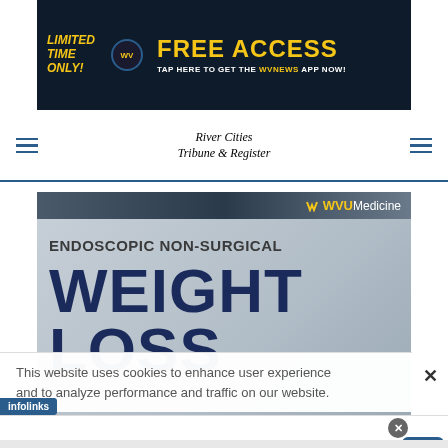[Figure (infographic): WVNews app banner ad: 'LIMITED TIME ONLY! FREE ACCESS - TAP HERE TO GET THE WVNEWS APP NOW!' on dark blue background with yellow text]
River Cities Tribune & Register
[Figure (infographic): WVU Medicine advertisement: 'ENDOSCOPIC NON-SURGICAL WEIGHT LOSS' on gray gradient background with navy blue text]
This website uses cookies to enhance user experience and to analyze performance and traffic on our website.
[Figure (infographic): Walgreens ad: 'Save BIG On Sun Care Today - Walgreens Photo' with Walgreens cursive logo and blue navigation arrow icon]